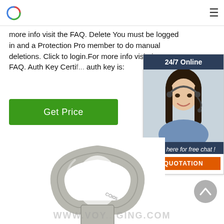[Logo] [Hamburger menu]
more info visit the FAQ. Delete You must be logged in and a Protection Pro member to do manual deletions. Click to login.For more info visit the FAQ. Auth Key Certif... auth key is:
Get Price
[Figure (infographic): 24/7 Online chat widget with a woman wearing a headset, 'Click here for free chat!' text and an orange QUOTATION button]
[Figure (photo): A galvanized steel eye nut/lifting eye bolt product on white background]
WWW.VOY...GGING.COM